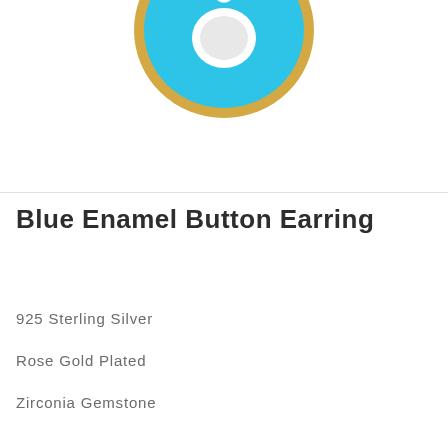[Figure (photo): Partial view of a blue enamel button earring with gold plating, showing a round turquoise/cyan disc shape with a small circular hole at top and a white circular center detail, photographed on a white background.]
Blue Enamel Button Earring
925 Sterling Silver
Rose Gold Plated
Zirconia Gemstone